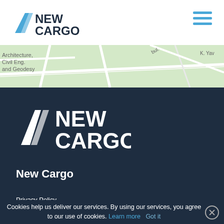NEW CARGO
[Figure (map): Street map showing area with text: Architecture, Civil Eng. and Geodesy]
[Figure (logo): New Cargo logo — large white version on dark background]
New Cargo
Privacy Policy
Protection of personal data
Cookies help us deliver our services. By using our services, you agree to our use of cookies. Learn more   Got it